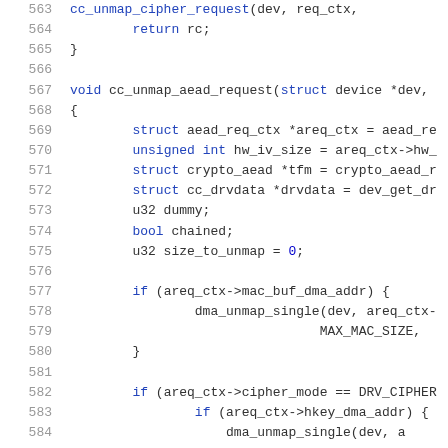[Figure (screenshot): Source code listing showing C code for cc_unmap_aead_request function, lines 563-584, with syntax highlighting. Blue keywords, gold/yellow identifiers, grey line numbers on white background.]